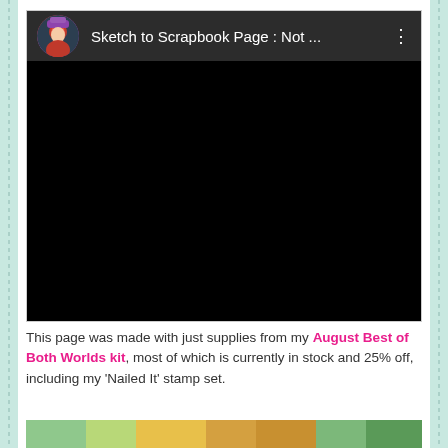[Figure (screenshot): A video thumbnail/player UI screenshot with a dark top bar showing a circular avatar photo of a woman in red costume, the title 'Sketch to Scrapbook Page : Not ...' in white text, a three-dot menu icon, and a completely black video area below.]
This page was made with just supplies from my August Best of Both Worlds kit, most of which is currently in stock and 25% off, including my 'Nailed It' stamp set.
[Figure (photo): A partial photo strip visible at the very bottom of the page showing colorful scrapbook/craft materials in greens and yellows.]